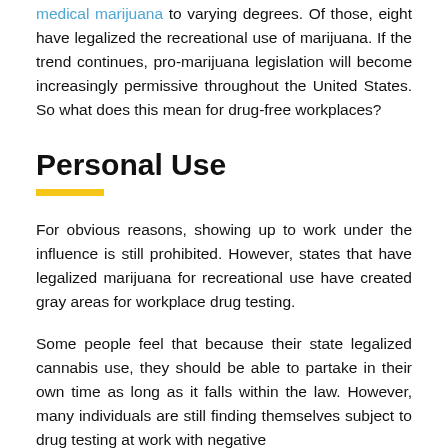medical marijuana to varying degrees. Of those, eight have legalized the recreational use of marijuana. If the trend continues, pro-marijuana legislation will become increasingly permissive throughout the United States. So what does this mean for drug-free workplaces?
Personal Use
For obvious reasons, showing up to work under the influence is still prohibited. However, states that have legalized marijuana for recreational use have created gray areas for workplace drug testing.
Some people feel that because their state legalized cannabis use, they should be able to partake in their own time as long as it falls within the law. However, many individuals are still finding themselves subject to drug testing at work with negative